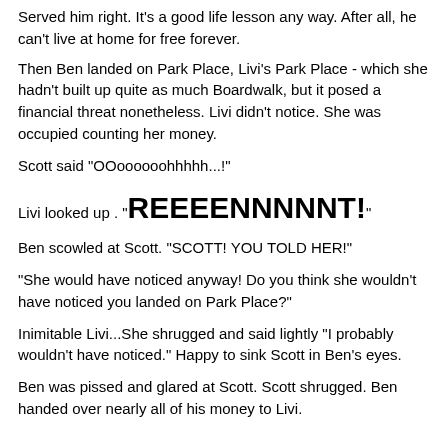Served him right.  It's a good life lesson any way.  After all, he can't live at home for free forever.
Then Ben landed on Park Place, Livi's Park Place - which she hadn't built up quite as much Boardwalk, but it posed a financial threat nonetheless.  Livi didn't notice.  She was occupied counting her money.
Scott said "OOoooooohhhhh...!"
Livi looked up .  "REEEENNNNNT!"
Ben scowled at Scott.  "SCOTT!  YOU TOLD HER!"
"She would have noticed anyway!  Do you think she wouldn't have noticed you landed on Park Place?"
Inimitable Livi...She shrugged and said lightly "I probably wouldn't have noticed."  Happy to sink Scott in Ben's eyes.
Ben was pissed and glared at Scott.  Scott shrugged.  Ben handed over nearly all of his money to Livi.